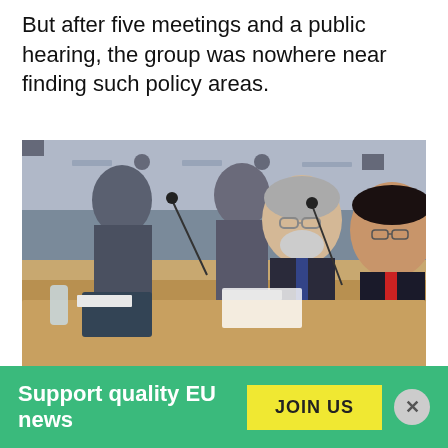But after five meetings and a public hearing, the group was nowhere near finding such policy areas.
[Figure (photo): Several men in suits seated at a conference table with microphones, appearing to be at an EU meeting or hearing. A bearded man in the center appears to be speaking, with others looking at documents.]
Support quality EU news
JOIN US